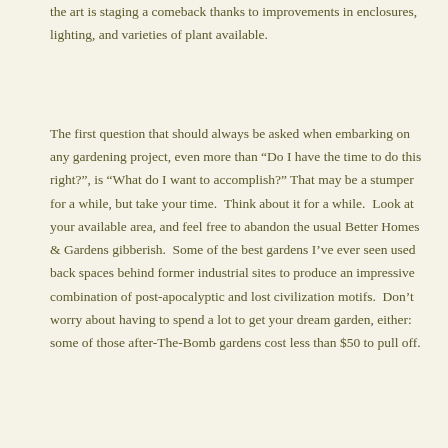the art is staging a comeback thanks to improvements in enclosures, lighting, and varieties of plant available.
The first question that should always be asked when embarking on any gardening project, even more than “Do I have the time to do this right?”, is “What do I want to accomplish?” That may be a stumper for a while, but take your time.  Think about it for a while.  Look at your available area, and feel free to abandon the usual Better Homes & Gardens gibberish.  Some of the best gardens I’ve ever seen used back spaces behind former industrial sites to produce an impressive combination of post-apocalyptic and lost civilization motifs.  Don’t worry about having to spend a lot to get your dream garden, either:  some of those after-The-Bomb gardens cost less than $50 to pull off.